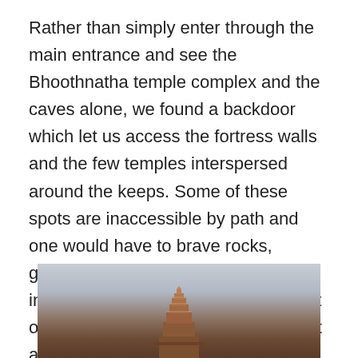Rather than simply enter through the main entrance and see the Bhoothnatha temple complex and the caves alone, we found a backdoor which let us access the fortress walls and the few temples interspersed around the keeps. Some of these spots are inaccessible by path and one would have to brave rocks, gravel, thorns, and short yet steep inclines to reach them. Our efforts not only yielded man-made structures but also a beautiful view of Agastya lake by the banks of which the rest of the historical site was situated. If one is inclined to use the proper channels to explore the fort, access to stone walkways can be gained by the small museum the Archaeological Survey of India has built.
[Figure (photo): A temple gopuram or tower visible above a misty landscape, with reddish-brown stone structure against a hazy grey sky.]